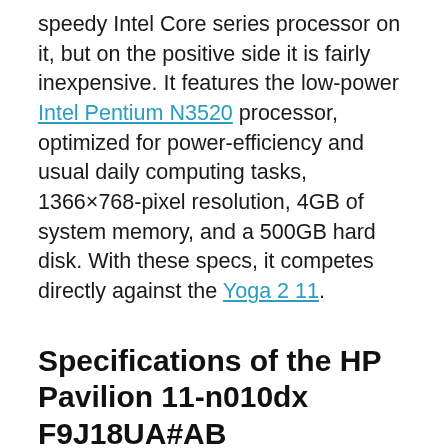speedy Intel Core series processor on it, but on the positive side it is fairly inexpensive. It features the low-power Intel Pentium N3520 processor, optimized for power-efficiency and usual daily computing tasks, 1366×768-pixel resolution, 4GB of system memory, and a 500GB hard disk. With these specs, it competes directly against the Yoga 2 11.
Specifications of the HP Pavilion 11-n010dx F9J18UA#AB